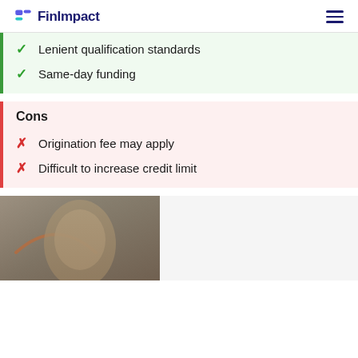FinImpact
Lenient qualification standards
Same-day funding
Cons
Origination fee may apply
Difficult to increase credit limit
[Figure (photo): Portrait photo of a woman with blonde hair, with an orange arc graphic overlay, partially visible at the bottom of the page]